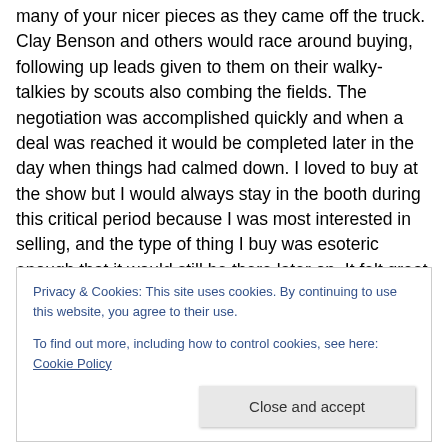many of your nicer pieces as they came off the truck.  Clay Benson and others would race around buying, following up leads given to them on their walky-talkies by scouts also combing the fields.  The negotiation was accomplished quickly and when a deal was reached it would be completed later in the day when things had calmed down.  I loved to buy at the show but I would always stay in the booth during this critical period because I was most interested in selling, and the type of thing I buy was esoteric enough that it would still be there later on.   It felt great when on occasion you had sold enough to consider
Privacy & Cookies: This site uses cookies. By continuing to use this website, you agree to their use.
To find out more, including how to control cookies, see here: Cookie Policy